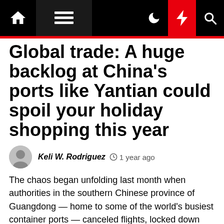Navigation bar with home, menu, dark mode, breaking news, and search icons
Global trade: A huge backlog at China's ports like Yantian could spoil your holiday shopping this year
Keli W. Rodriguez  1 year ago
The chaos began unfolding last month when authorities in the southern Chinese province of Guangdong — home to some of the world's busiest container ports — canceled flights, locked down